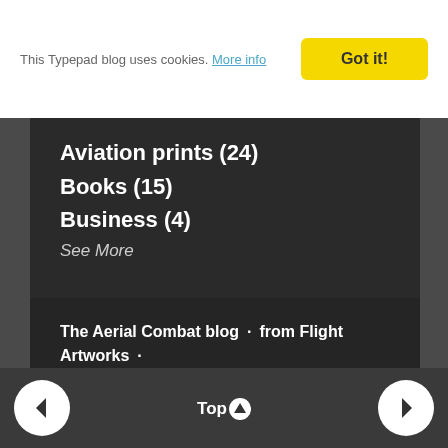This Typepad blog uses cookies. More info
Got it!
Aviation prints (24)
Books (15)
Business (4)
See More
The Aerial Combat blog · from Flight Artworks · Powered by Typepad: · Privacy & Cookies
Top